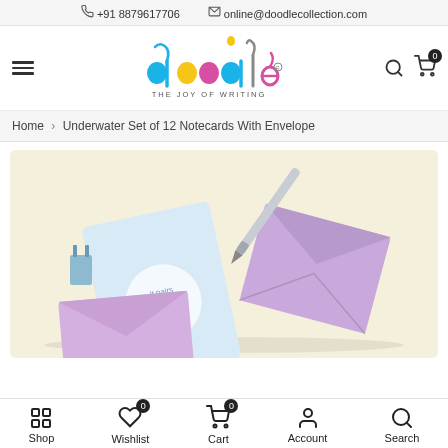+91 8879617706  online@doodlecollection.com
[Figure (logo): Doodle brand logo with colorful circles and text 'THE JOY OF WRITING']
Home > Underwater Set of 12 Notecards With Envelope
[Figure (photo): Product photo showing light blue notecards with circular text label, purple/lavender envelopes, a silver pen, and a small binder clip on a cream/yellow background]
Shop  Wishlist  Cart  Account  Search